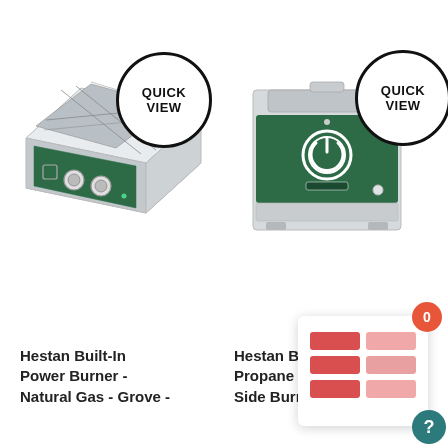[Figure (photo): Hestan Built-In Power Burner in Natural Gas Grove color - angled view showing green front panel with two knobs and stainless steel top]
[Figure (photo): Hestan Built-In Propane Gas Side Burner Grove color - front view showing green panel with circular power button and small display]
Hestan Built-In Power Burner - Natural Gas - Grove -
Hestan Bu... Propane G... Side Burner - Grove -
[Figure (infographic): Notification overlay panel showing a 2x3 grid of colored squares (red and pink), a circular badge with '0', and a teal help button with '?']